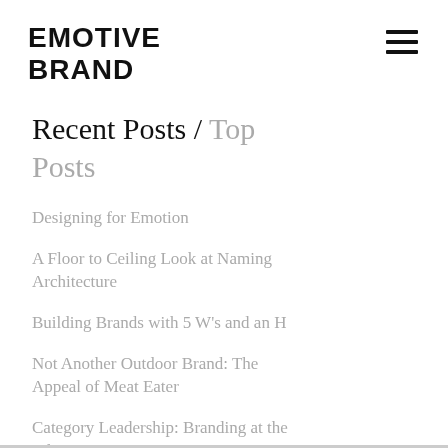EMOTIVE BRAND
Recent Posts / Top Posts
Designing for Emotion
A Floor to Ceiling Look at Naming Architecture
Building Brands with 5 W's and an H
Not Another Outdoor Brand: The Appeal of Meat Eater
Category Leadership: Branding at the Edge